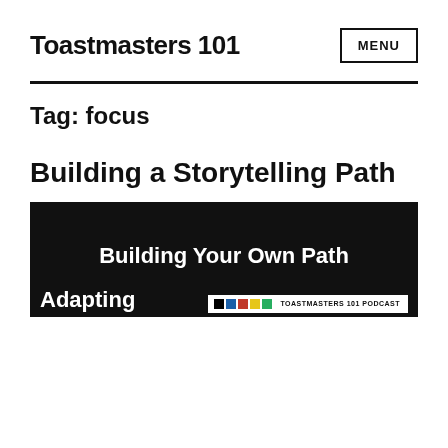Toastmasters 101
Tag: focus
Building a Storytelling Path
[Figure (screenshot): Thumbnail image on black background with text 'Building Your Own Path' at top in white, 'Adapting' at lower left in white, and a Toastmasters 101 Podcast badge at lower right with colored blocks (black, blue, red, yellow, green).]